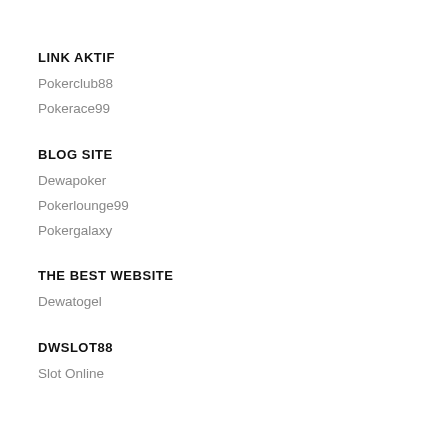LINK AKTIF
Pokerclub88
Pokerace99
BLOG SITE
Dewapoker
Pokerlounge99
Pokergalaxy
THE BEST WEBSITE
Dewatogel
DWSLOT88
Slot Online